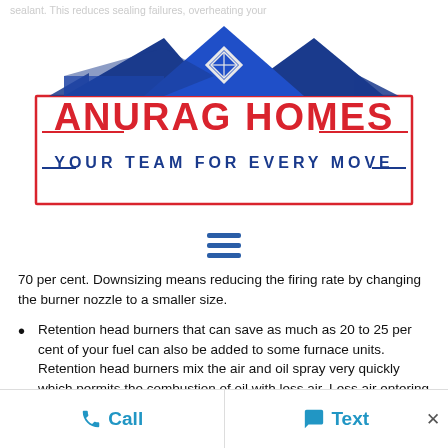[Figure (logo): Anurag Homes logo with blue house roof shapes and red text 'ANURAG HOMES' with tagline 'YOUR TEAM FOR EVERY MOVE']
70 per cent. Downsizing means reducing the firing rate by changing the burner nozzle to a smaller size.
Retention head burners that can save as much as 20 to 25 per cent of your fuel can also be added to some furnace units. Retention head burners mix the air and oil spray very quickly which permits the combustion of oil with less air. Less air entering the burner means that less heat escapes out the chimney.
Call   Text